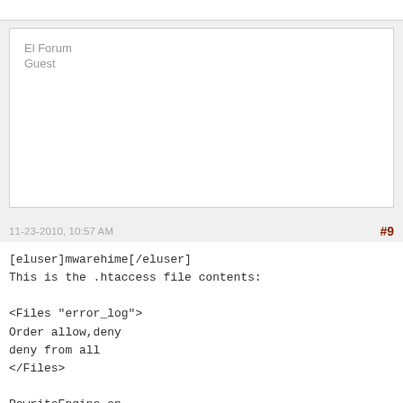El Forum
Guest
11-23-2010, 10:57 AM
#9
[eluser]mwarehime[/eluser]
This is the .htaccess file contents:

<Files "error_log">
Order allow,deny
deny from all
</Files>

RewriteEngine on
RewriteCond $1